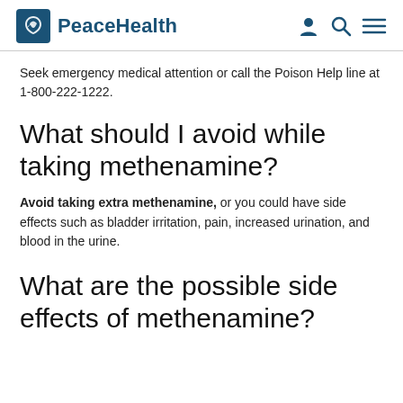PeaceHealth
Seek emergency medical attention or call the Poison Help line at 1-800-222-1222.
What should I avoid while taking methenamine?
Avoid taking extra methenamine, or you could have side effects such as bladder irritation, pain, increased urination, and blood in the urine.
What are the possible side effects of methenamine?